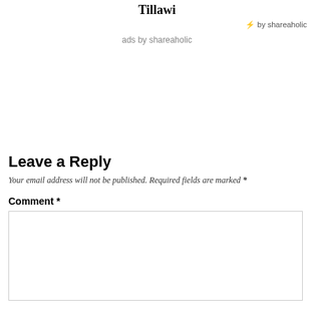Tillawi
by shareaholic
ads by shareaholic
Leave a Reply
Your email address will not be published. Required fields are marked *
Comment *